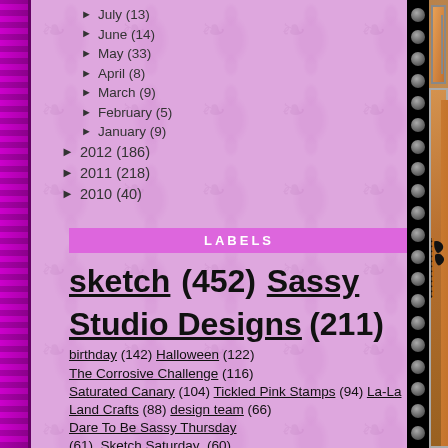► July (13)
► June (14)
► May (33)
► April (8)
► March (9)
► February (5)
► January (9)
► 2012 (186)
► 2011 (218)
► 2010 (40)
LABELS
sketch (452) Sassy Studio Designs (211) birthday (142) Halloween (122) The Corrosive Challenge (116) Saturated Canary (104) Tickled Pink Stamps (94) La-La Land Crafts (88) design team (66) Dare To Be Sassy Thursday (61) Sketch Saturday (60) Kenny K (57) Simply B Stamps (53) Christmas (52) KennyK's Krafty Krew (52) design team
[Figure (photo): Photo of an orange craft bag/box with black decorative stamp designs, displayed upright against a white background]